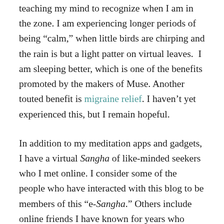teaching my mind to recognize when I am in the zone. I am experiencing longer periods of being “calm,” when little birds are chirping and the rain is but a light patter on virtual leaves.  I am sleeping better, which is one of the benefits promoted by the makers of Muse. Another touted benefit is migraine relief. I haven’t yet experienced this, but I remain hopeful.
In addition to my meditation apps and gadgets, I have a virtual Sangha of like-minded seekers who I met online. I consider some of the people who have interacted with this blog to be members of this “e-Sangha.” Others include online friends I have known for years who share their experience with Buddhism and other spiritual practices and support me on my quest.